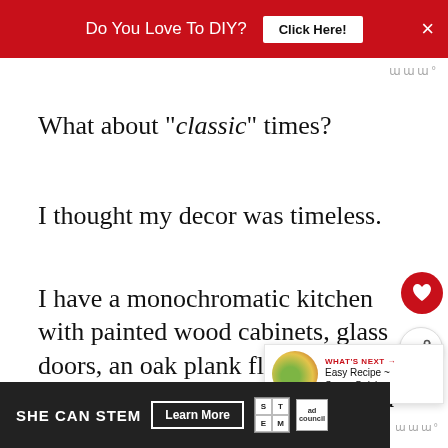Do You Love To DIY? Click Here! ×
What about "classic" times?
I thought my decor was timeless.
I have a monochromatic kitchen with painted wood cabinets, glass doors, an oak plank floor, pine furniture, traditional cup pulls and bisque appliances.
SHE CAN STEM Learn More ad council